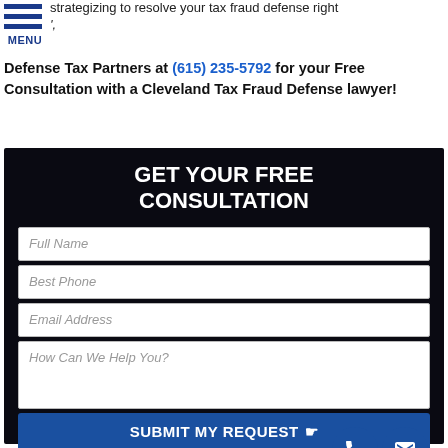strategizing to resolve your tax fraud defense right
Defense Tax Partners at (615) 235-5792 for your Free Consultation with a Cleveland Tax Fraud Defense lawyer!
[Figure (infographic): Contact form with dark background titled GET YOUR FREE CONSULTATION, with fields for Full Name, Best Phone, Email Address, How Can We Help You?, and a SUBMIT MY REQUEST button with phone and email icons]